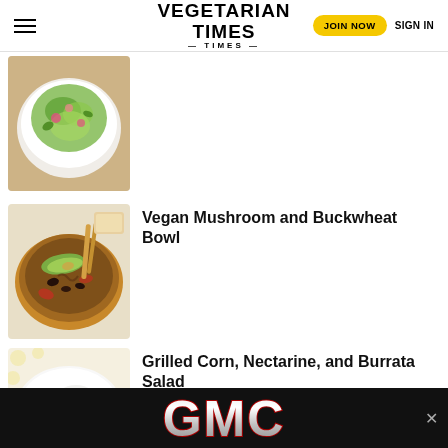VEGETARIAN TIMES — JOIN NOW — SIGN IN
[Figure (photo): Overhead shot of a green salad in a white bowl on a wooden surface]
[Figure (photo): Overhead shot of a vegan mushroom and buckwheat bowl with avocado slices, black beans, and tortillas]
Vegan Mushroom and Buckwheat Bowl
[Figure (photo): Overhead shot of grilled corn, nectarine, and burrata salad on a white plate]
Grilled Corn, Nectarine, and Burrata Salad
[Figure (other): GMC advertisement banner with red and silver GMC logo on black background]